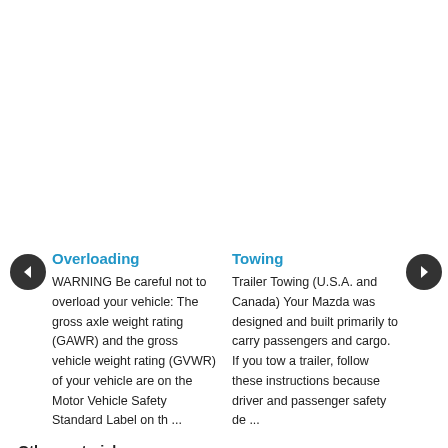Overloading
WARNING Be careful not to overload your vehicle: The gross axle weight rating (GAWR) and the gross vehicle weight rating (GVWR) of your vehicle are on the Motor Vehicle Safety Standard Label on th ...
Towing
Trailer Towing (U.S.A. and Canada) Your Mazda was designed and built primarily to carry passengers and cargo. If you tow a trailer, follow these instructions because driver and passenger safety de ...
Other materials: